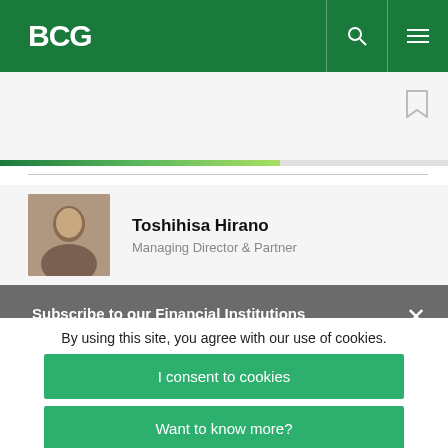BCG
[Figure (screenshot): BCG website screenshot showing author profile for Toshihisa Hirano, Managing Director & Partner, with subscription alert overlay and cookie consent banner]
Toshihisa Hirano
Managing Director & Partner
Subscribe to our Financial Institutions E-Alert .
protected by reCaptcha
By using this site, you agree with our use of cookies.
I consent to cookies
Want to know more?
Read our Cookie Policy